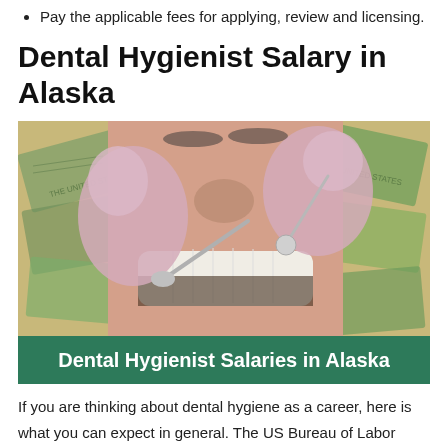Pay the applicable fees for applying, review and licensing.
Dental Hygienist Salary in Alaska
[Figure (photo): Composite image: background of US dollar bills, center shows a dental hygienist in pink gloves performing a dental examination on a patient with mouth open; green banner at bottom reads 'Dental Hygienist Salaries in Alaska' in bold white text.]
If you are thinking about dental hygiene as a career, here is what you can expect in general. The US Bureau of Labor Statistics reports that the median annual income for dental hygienists is $116,730, and the field is growing at a rate of 20%. That is faster than average, so demand is good and the pay is also excellent